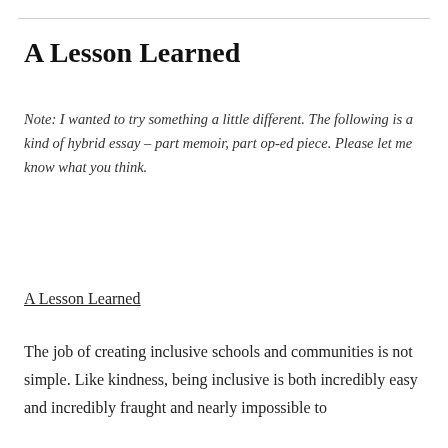A Lesson Learned
Note: I wanted to try something a little different. The following is a kind of hybrid essay – part memoir, part op-ed piece. Please let me know what you think.
A Lesson Learned
The job of creating inclusive schools and communities is not simple. Like kindness, being inclusive is both incredibly easy and incredibly fraught and nearly impossible to